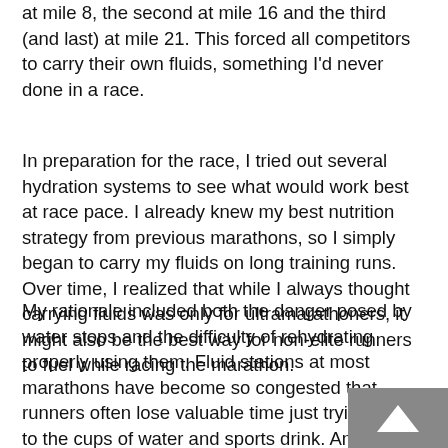at mile 8, the second at mile 16 and the third (and last) at mile 21. This forced all competitors to carry their own fluids, something I'd never done in a race.
In preparation for the race, I tried out several hydration systems to see what would work best at race pace. I already knew my best nutrition strategy from previous marathons, so I simply began to carry my fluids on long training runs. Over time, I realized that while I always thought carrying fluids was only for ultramarathoners, it might also be the best way for non-elite runners to fuel while racing the marathon.
My rationale included both the danger posed by water stops and the difficulty of rehydrating properly using them. Fluid stations at most marathons have become so congested that runners often lose valuable time just trying to get to the cups of water and sports drink. And who can drink from those cups at race speed? It's so hard to get in what you need. Plus, what if you drop your cup, a volunteer misses the hand-off, another runner cuts you off or knocks the cup out of your hand, or any number of other potential accidents occur while